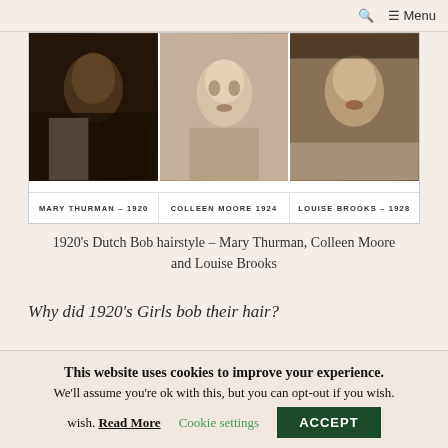🔍  ☰ Menu
[Figure (photo): Three vintage sepia photographs of women with 1920s Dutch Bob hairstyles. Left: Mary Thurman - 1920. Center: Colleen Moore - 1924. Right: Louise Brooks - 1928.]
1920's Dutch Bob hairstyle – Mary Thurman, Colleen Moore and Louise Brooks
Why did 1920's Girls bob their hair?
The singer Mary Garden explained to the Pictorial
This website uses cookies to improve your experience. We'll assume you're ok with this, but you can opt-out if you wish. Read More  Cookie settings  ACCEPT